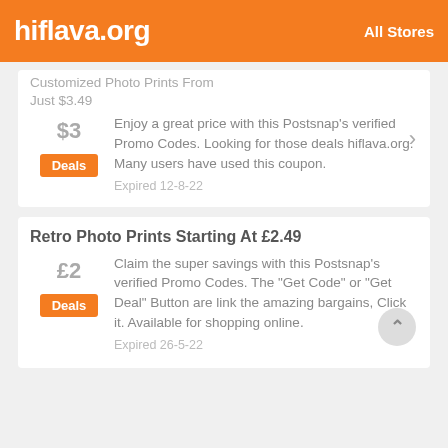hiflava.org   All Stores
Customized Photo Prints From Just $3.49
$3
Deals
Enjoy a great price with this Postsnap's verified Promo Codes. Looking for those deals hiflava.org. Many users have used this coupon.
Expired 12-8-22
Retro Photo Prints Starting At £2.49
£2
Deals
Claim the super savings with this Postsnap's verified Promo Codes. The "Get Code" or "Get Deal" Button are link the amazing bargains, Click it. Available for shopping online.
Expired 26-5-22